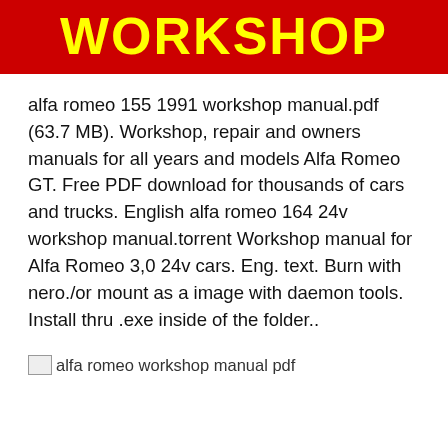WORKSHOP
alfa romeo 155 1991 workshop manual.pdf (63.7 MB). Workshop, repair and owners manuals for all years and models Alfa Romeo GT. Free PDF download for thousands of cars and trucks. English alfa romeo 164 24v workshop manual.torrent Workshop manual for Alfa Romeo 3,0 24v cars. Eng. text. Burn with nero./or mount as a image with daemon tools. Install thru .exe inside of the folder..
[Figure (other): Broken image placeholder with alt text: alfa romeo workshop manual pdf]